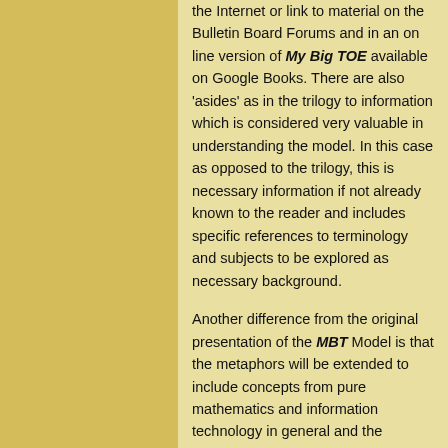the Internet or link to material on the Bulletin Board Forums and in an on line version of My Big TOE available on Google Books. There are also 'asides' as in the trilogy to information which is considered very valuable in understanding the model. In this case as opposed to the trilogy, this is necessary information if not already known to the reader and includes specific references to terminology and subjects to be explored as necessary background.
Another difference from the original presentation of the MBT Model is that the metaphors will be extended to include concepts from pure mathematics and information technology in general and the Bootstrapping process to consciousness will be greatly expanded in details and conceptually complete.